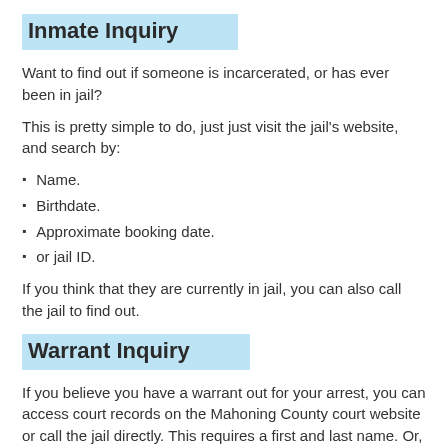Inmate Inquiry
Want to find out if someone is incarcerated, or has ever been in jail?
This is pretty simple to do, just just visit the jail's website, and search by:
Name.
Birthdate.
Approximate booking date.
or jail ID.
If you think that they are currently in jail, you can also call the jail to find out.
Warrant Inquiry
If you believe you have a warrant out for your arrest, you can access court records on the Mahoning County court website or call the jail directly. This requires a first and last name. Or, you can just go down to the jail and inquire at the information desk. You should know that if there is a warrant for your arrest, you will be taken into custody